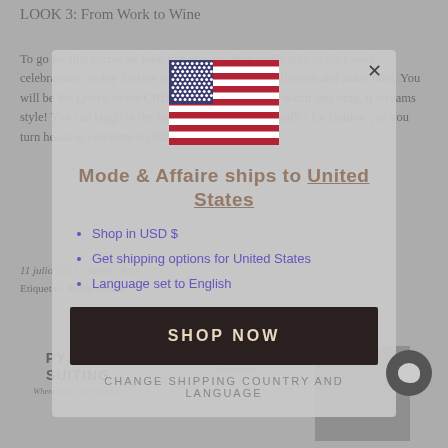LOOK 3: From Work to Wine
To go for that corporate look that you can then easily take to after work celebrations. Teddy Jackets with a wide leg pant, turtleneck and ankle boot. You will be the Queen of the CBD, not only is this outfit warm and snug, it screams style! You can laugh in the face of that old saying, "suffer for fashion", as you turn heads in complete stylish comfort.
11 julio 2023 · Sarah Clark
Etiquetas: Teddy Jacket
[Figure (infographic): Modal popup overlay with US flag graphic and text: Mode & Affaire ships to United States]
Shop in USD $
Get shipping options for United States
Language set to English
SHOP NOW
CHANGE SHIPPING COUNTRY AND LANGUAGE
PYJAMA SUITING
THE PYJAMA TOP